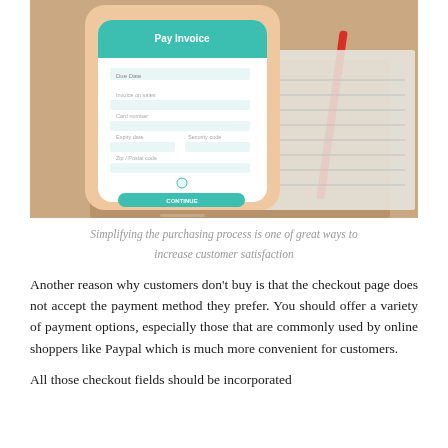[Figure (photo): A smartphone displaying a 'Pay Invoice' screen with form fields, resting on a brown notebook/folder with a red pen, alongside some paper documents in the background.]
Simplifying the purchasing process is one of great ways to increase customer satisfaction
Another reason why customers don't buy is that the checkout page does not accept the payment method they prefer. You should offer a variety of payment options, especially those that are commonly used by online shoppers like Paypal which is much more convenient for customers.
All those checkout fields should be incorporated